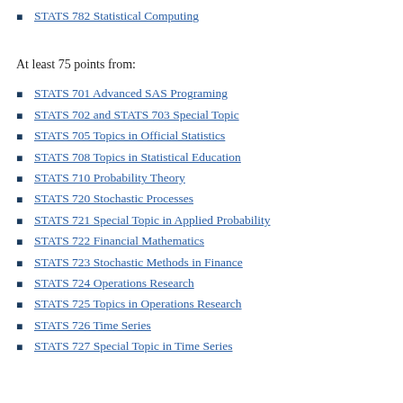STATS 782 Statistical Computing
At least 75 points from:
STATS 701 Advanced SAS Programing
STATS 702 and STATS 703 Special Topic
STATS 705 Topics in Official Statistics
STATS 708 Topics in Statistical Education
STATS 710 Probability Theory
STATS 720 Stochastic Processes
STATS 721 Special Topic in Applied Probability
STATS 722 Financial Mathematics
STATS 723 Stochastic Methods in Finance
STATS 724 Operations Research
STATS 725 Topics in Operations Research
STATS 726 Time Series
STATS 727 Special Topic in Time Series